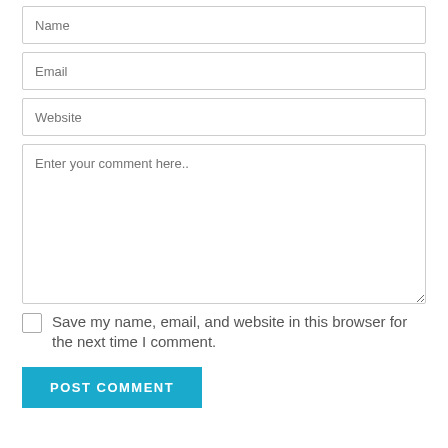Name
Email
Website
Enter your comment here..
Save my name, email, and website in this browser for the next time I comment.
POST COMMENT